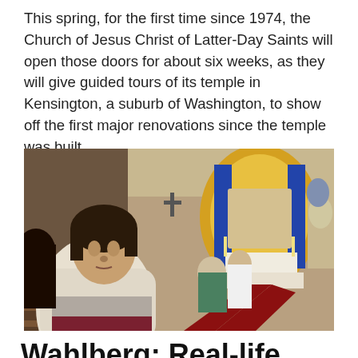This spring, for the first time since 1974, the Church of Jesus Christ of Latter-Day Saints will open those doors for about six weeks, as they will give guided tours of its temple in Kensington, a suburb of Washington, to show off the first major renovations since the temple was built.
[Figure (photo): Interior of a church with people sitting in wooden pews. A man with dark hair wearing a white and gray sweater is turned looking back. A red carpet runs down the center aisle toward the altar with a gold arch and blue curtains. A cross is visible on the left wall.]
Wahlberg: Real-life